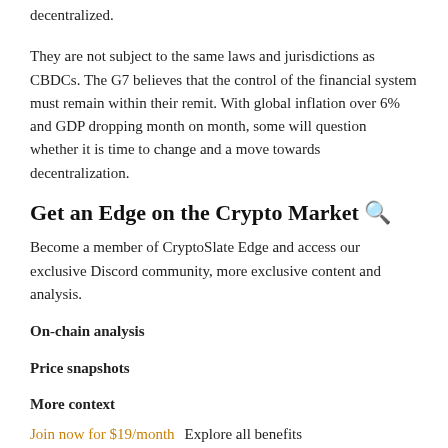decentralized.
They are not subject to the same laws and jurisdictions as CBDCs. The G7 believes that the control of the financial system must remain within their remit. With global inflation over 6% and GDP dropping month on month, some will question whether it is time to change and a move towards decentralization.
Get an Edge on the Crypto Market 🔍
Become a member of CryptoSlate Edge and access our exclusive Discord community, more exclusive content and analysis.
On-chain analysis
Price snapshots
More context
Join now for $19/month   Explore all benefits